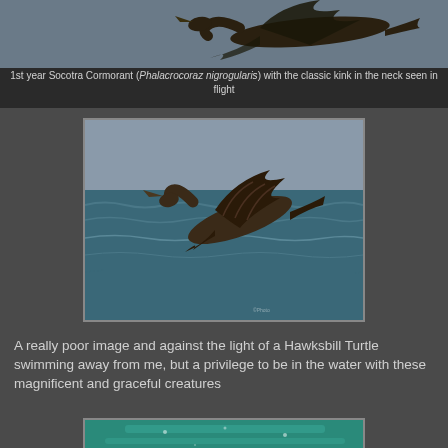[Figure (photo): 1st year Socotra Cormorant in flight with kinked neck, seen from below against grey sky]
1st year Socotra Cormorant (Phalacrocoraz nigrogularis) with the classic kink in the neck seen in flight
[Figure (photo): Socotra Cormorant in flight over open water, showing wing curvature, photographed against blue-grey sea background]
A really poor image and against the light of a Hawksbill Turtle swimming away from me, but a privilege to be in the water with these magnificent and graceful creatures
[Figure (photo): Underwater photo of a Hawksbill Turtle swimming away, teal/turquoise water background]